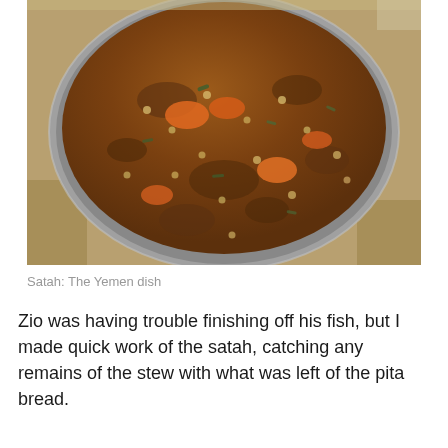[Figure (photo): A large metal pot filled with satah, a Yemeni stew containing lentils, chunks of orange carrots, greens, and a thick brownish-red broth, viewed from above on a wooden surface.]
Satah: The Yemen dish
Zio was having trouble finishing off his fish, but I made quick work of the satah, catching any remains of the stew with what was left of the pita bread.